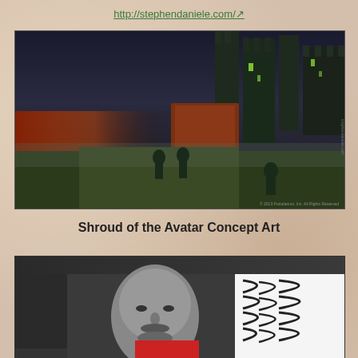http://stephendaniele.com/
[Figure (illustration): Dark fantasy concept art showing armored figures fighting near a massive fortified castle gate with dramatic stormy sky, glowing red horizon and green atmospheric lighting]
Shroud of the Avatar Concept Art
[Figure (screenshot): Video thumbnail showing 'Pen of the Avatar ~ Darkstarr and Lo...' with Shroud of the Avatar logo, a digital painting of a man's face in grayscale and a Photoshop interface with brush strokes visible]